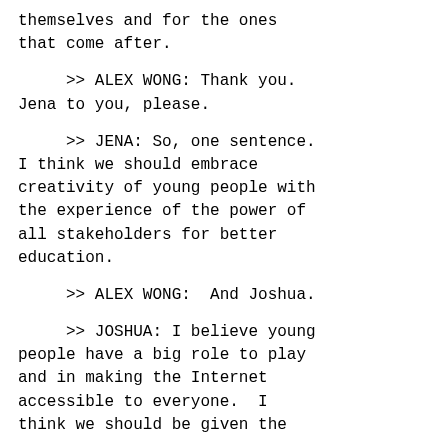themselves and for the ones that come after.
>> ALEX WONG: Thank you. Jena to you, please.
>> JENA: So, one sentence. I think we should embrace creativity of young people with the experience of the power of all stakeholders for better education.
>> ALEX WONG:  And Joshua.
>> JOSHUA: I believe young people have a big role to play and in making the Internet accessible to everyone.  I think we should be given the